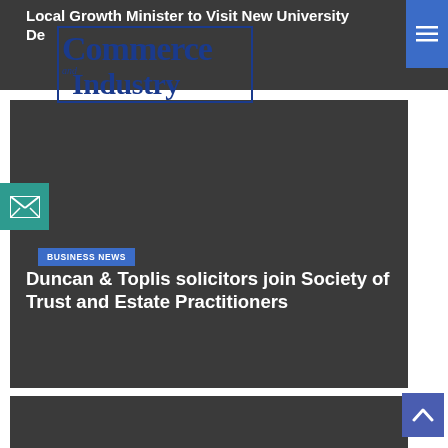Local Growth Minister to Visit New University Development
[Figure (logo): Commerce and Industry magazine logo with stylized text in blue and dark navy]
BUSINESS NEWS
Duncan & Toplis solicitors join Society of Trust and Estate Practitioners